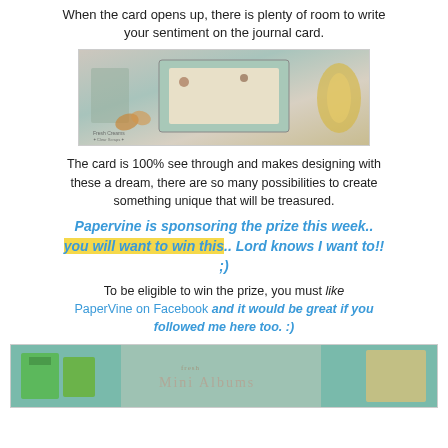When the card opens up, there is plenty of room to write your sentiment on the journal card.
[Figure (photo): Photo of an open card with a decorative journal card insert, shown on a white surface. Watermark reads 'Fresh Creams Clear Scraps' at the bottom left.]
The card is 100% see through and makes designing with these a dream, there are so many possibilities to create something unique that will be treasured.
Papervine is sponsoring the prize this week.. you will want to win this.. Lord knows I want to!! ;)
To be eligible to win the prize, you must like PaperVine on Facebook and it would be great if you followed me here too. :)
[Figure (photo): Bottom portion of a photo showing packaged products with teal/cyan background, green packages on left and what appears to be a 'Mini Albums' labeled item on right.]